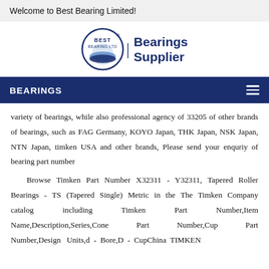Welcome to Best Bearing Limited!
[Figure (logo): Best Bearing Ltd circular logo with wave design and 'Bearings Supplier' text in dark blue]
BEARINGS
variety of bearings, while also professional agency of 33205 of other brands of bearings, such as FAG Germany, KOYO Japan, THK Japan, NSK Japan, NTN Japan, timken USA and other brands, Please send your enquriy of bearing part number
Browse Timken Part Number X32311 - Y32311, Tapered Roller Bearings - TS (Tapered Single) Metric in the The Timken Company catalog including Timken Part Number,Item Name,Description,Series,Cone Part Number,Cup Part Number,Design Units,d - Bore,D - CupChina TIMKEN